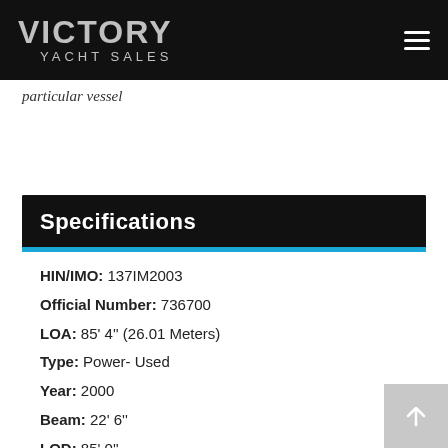VICTORY YACHT SALES
particular vessel
Specifications
HIN/IMO: 137IM2003
Official Number: 736700
LOA: 85' 4'' (26.01 Meters)
Type: Power- Used
Year: 2000
Beam: 22' 6''
LOD: 85' 0''
Draft Max: 4' 11''